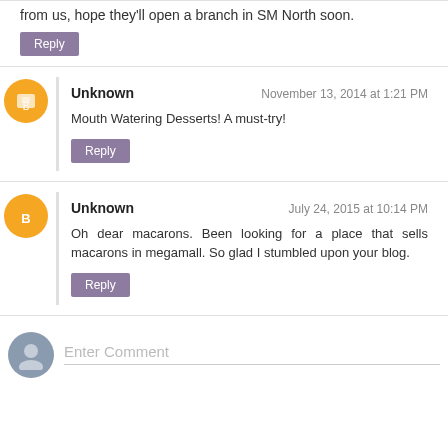from us, hope they'll open a branch in SM North soon.
Reply
Unknown — November 13, 2014 at 1:21 PM
Mouth Watering Desserts! A must-try!
Reply
Unknown — July 24, 2015 at 10:14 PM
Oh dear macarons. Been looking for a place that sells macarons in megamall. So glad I stumbled upon your blog.
Reply
Enter Comment